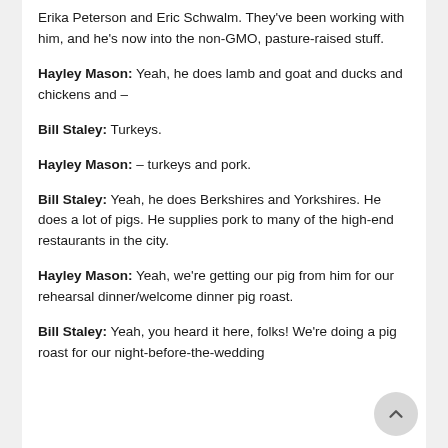Erika Peterson and Eric Schwalm. They've been working with him, and he's now into the non-GMO, pasture-raised stuff.
Hayley Mason: Yeah, he does lamb and goat and ducks and chickens and –
Bill Staley: Turkeys.
Hayley Mason: – turkeys and pork.
Bill Staley: Yeah, he does Berkshires and Yorkshires. He does a lot of pigs. He supplies pork to many of the high-end restaurants in the city.
Hayley Mason: Yeah, we're getting our pig from him for our rehearsal dinner/welcome dinner pig roast.
Bill Staley: Yeah, you heard it here, folks! We're doing a pig roast for our night-before-the-wedding